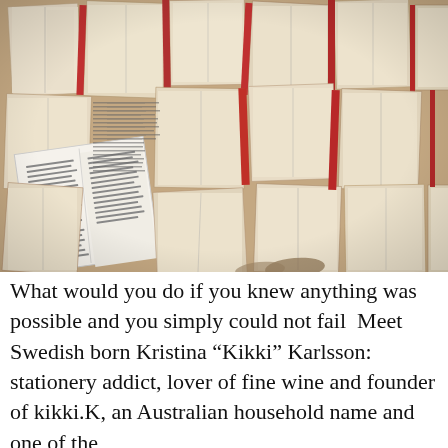[Figure (photo): Overhead/flat-lay photo of many open books spread across a surface, showing aged yellowed pages with dense text columns, some books with red spines visible, arranged in an overlapping collage style.]
What would you do if you knew anything was possible and you simply could not fail  Meet Swedish born Kristina “Kikki” Karlsson: stationery addict, lover of fine wine and founder of kikki.K, an Australian household name and one of the